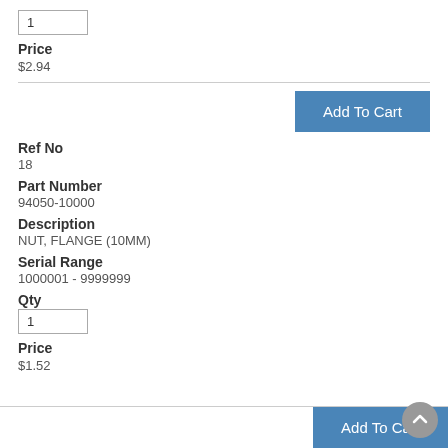Qty: 1
Price
$2.94
Add To Cart
Ref No
18
Part Number
94050-10000
Description
NUT, FLANGE (10MM)
Serial Range
1000001 - 9999999
Qty
1
Price
$1.52
Add To Cart